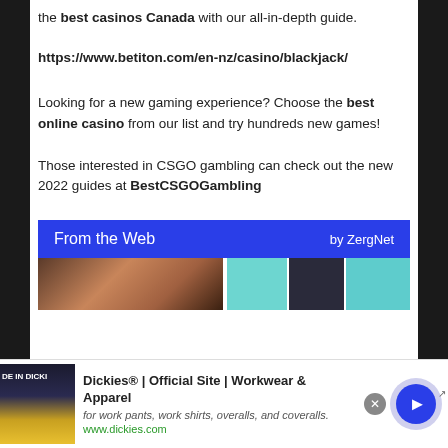the best casinos Canada with our all-in-depth guide.
https://www.betiton.com/en-nz/casino/blackjack/
Looking for a new gaming experience? Choose the best online casino from our list and try hundreds new games!
Those interested in CSGO gambling can check out the new 2022 guides at BestCSGOGambling
[Figure (other): ZergNet widget bar with 'From the Web' label and 'by ZergNet' on blue background, followed by two image thumbnails below]
[Figure (other): Advertisement banner for Dickies Official Site - Workwear & Apparel with image, text, play button, and close button]